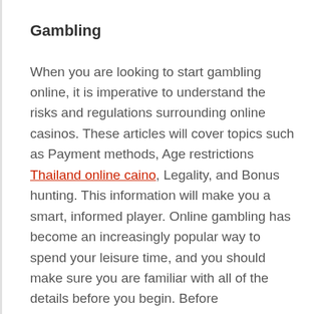Gambling
When you are looking to start gambling online, it is imperative to understand the risks and regulations surrounding online casinos. These articles will cover topics such as Payment methods, Age restrictions Thailand online caino, Legality, and Bonus hunting. This information will make you a smart, informed player. Online gambling has become an increasingly popular way to spend your leisure time, and you should make sure you are familiar with all of the details before you begin. Before